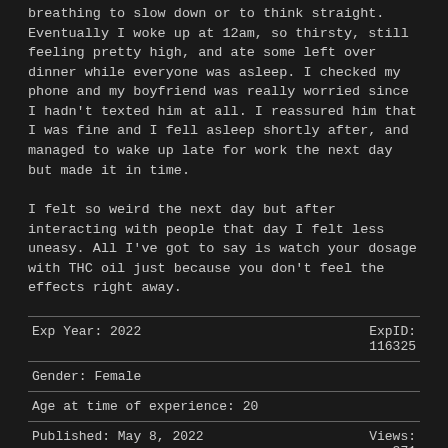breathing to slow down or to think straight. Eventually I woke up at 12am, so thirsty, still feeling pretty high, and ate some left over dinner while everyone was asleep. I checked my phone and my boyfriend was really worried since I hadn't texted him at all. I reassured him that I was fine and I fell asleep shortly after, and managed to wake up late for work the next day but made it in time.
I felt so weird the next day but after interacting with people that day I felt less uneasy. All I've got to say is watch your dosage with THC oil just because you don't feel the effects right away.
| Exp Year: 2022 | ExpID: 116325 |
| Gender: Female |  |
| Age at time of experience: 20 |  |
| Published: May 8, 2022 | Views: 371 |
[ View as PDF (for printing) ] [ View as LaTeX (for geeks) ] [